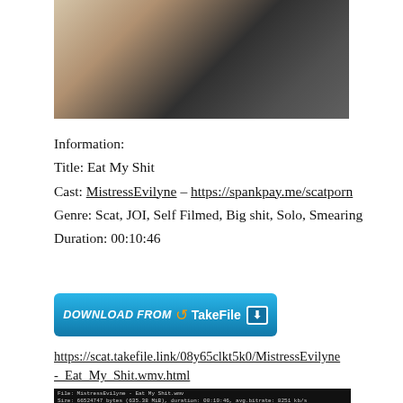[Figure (photo): Top portion of a photo showing a person in black clothing seated]
Information:
Title: Eat My Shit
Cast: MistressEvilyne – https://spankpay.me/scatporn
Genre: Scat, JOI, Self Filmed, Big shit, Solo, Smearing
Duration: 00:10:46
[Figure (other): Download from TakeFile button in blue with orange icon and white arrow]
https://scat.takefile.link/08y65clkt5k0/MistressEvilyne_-_Eat_My_Shit.wmv.html
[Figure (screenshot): Video file info panel and three thumbnail frames showing a person in black clothing]